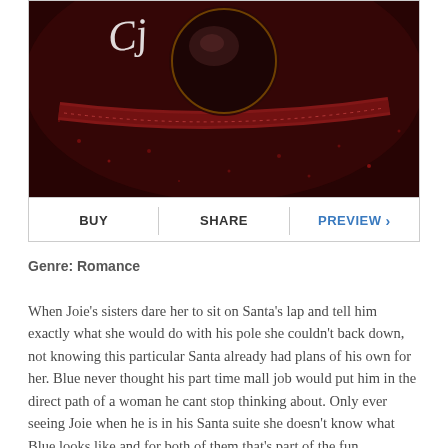[Figure (photo): Dark red book cover with ornate details, script text partially visible at top]
BUY   SHARE   PREVIEW >
Genre: Romance
When Joie's sisters dare her to sit on Santa's lap and tell him exactly what she would do with his pole she couldn't back down, not knowing this particular Santa already had plans of his own for her. Blue never thought his part time mall job would put him in the direct path of a woman he cant stop thinking about. Only ever seeing Joie when he is in his Santa suite she doesn't know what Blue looks like and for both of them that's part of the fun. Christmas Eve unexpectedly put them in each others path so Blue uses the mystery of who he